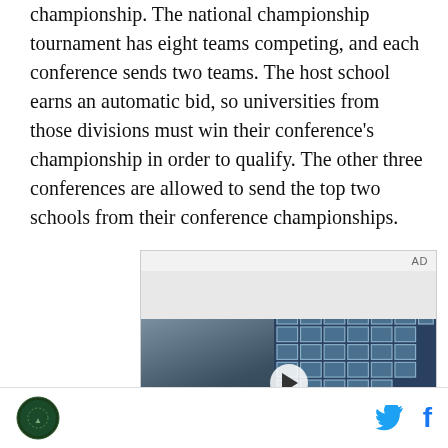championship. The national championship tournament has eight teams competing, and each conference sends two teams. The host school earns an automatic bid, so universities from those divisions must win their conference's championship in order to qualify. The other three conferences are allowed to send the top two schools from their conference championships.
[Figure (other): An advertisement placeholder showing a video player with a young man standing in front of a building with glass windows, overlaid with a play button and the text 'Unfold your world'. An 'AD' label appears in the top right of the ad unit.]
Logo icon | Twitter icon | Facebook icon